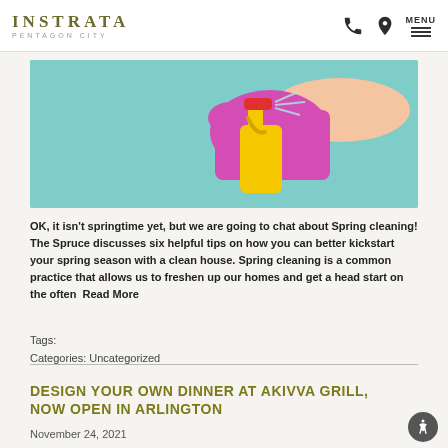INSTRATA PENTAGON CITY
[Figure (photo): Hand wearing pink rubber glove holding a yellow spray bottle with red nozzle against a turquoise/mint background]
OK, it isn't springtime yet, but we are going to chat about Spring cleaning! The Spruce discusses six helpful tips on how you can better kickstart your spring season with a clean house. Spring cleaning is a common practice that allows us to freshen up our homes and get a head start on the often  Read More
Tags:
Categories: Uncategorized
DESIGN YOUR OWN DINNER AT AKIVVA GRILL, NOW OPEN IN ARLINGTON
November 24, 2021